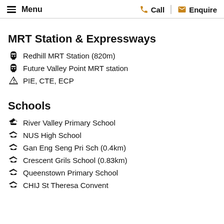Menu | Call | Enquire
MRT Station & Expressways
Redhill MRT Station (820m)
Future Valley Point MRT station
PIE, CTE, ECP
Schools
River Valley Primary School
NUS High School
Gan Eng Seng Pri Sch (0.4km)
Crescent Grils School (0.83km)
Queenstown Primary School
CHIJ St Theresa Convent